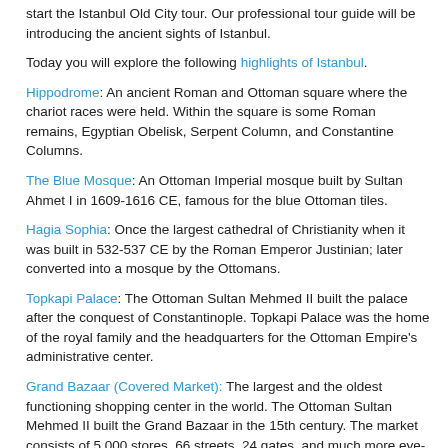start the Istanbul Old City tour. Our professional tour guide will be introducing the ancient sights of Istanbul.
Today you will explore the following highlights of Istanbul.
Hippodrome: An ancient Roman and Ottoman square where the chariot races were held. Within the square is some Roman remains, Egyptian Obelisk, Serpent Column, and Constantine Columns.
The Blue Mosque: An Ottoman Imperial mosque built by Sultan Ahmet I in 1609-1616 CE, famous for the blue Ottoman tiles.
Hagia Sophia: Once the largest cathedral of Christianity when it was built in 532-537 CE by the Roman Emperor Justinian; later converted into a mosque by the Ottomans.
Topkapi Palace: The Ottoman Sultan Mehmed II built the palace after the conquest of Constantinople. Topkapi Palace was the home of the royal family and the headquarters for the Ottoman Empire's administrative center.
Grand Bazaar (Covered Market): The largest and the oldest functioning shopping center in the world. The Ottoman Sultan Mehmed II built the Grand Bazaar in the 15th century. The market consists of 5,000 stores, 66 streets, 24 gates, and much more eye-pleasing architecture. Within the bazaars are many Turkish handicraft stores such as rugs, carpets, kilims...